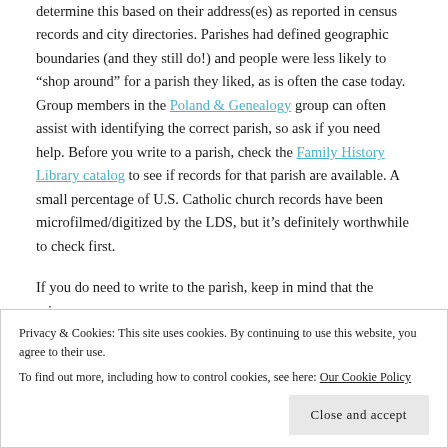determine this based on their address(es) as reported in census records and city directories. Parishes had defined geographic boundaries (and they still do!) and people were less likely to “shop around” for a parish they liked, as is often the case today. Group members in the Poland & Genealogy group can often assist with identifying the correct parish, so ask if you need help. Before you write to a parish, check the Family History Library catalog to see if records for that parish are available. A small percentage of U.S. Catholic church records have been microfilmed/digitized by the LDS, but it’s definitely worthwhile to check first.
If you do need to write to the parish, keep in mind that the primary
Privacy & Cookies: This site uses cookies. By continuing to use this website, you agree to their use. To find out more, including how to control cookies, see here: Our Cookie Policy